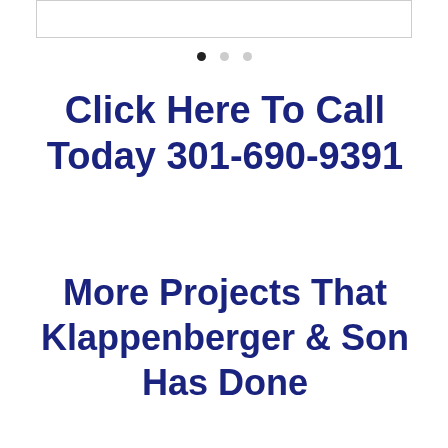[Figure (other): White rectangle with border, likely a slideshow/carousel image placeholder]
[Figure (other): Carousel navigation dots: one filled black dot and two grey dots]
Click Here To Call Today 301-690-9391
More Projects That Klappenberger & Son Has Done